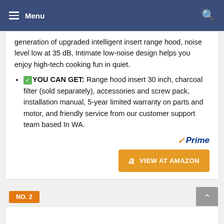Menu
generation of upgraded intelligent insert range hood, noise level low at 35 dB, Intimate low-noise design helps you enjoy high-tech cooking fun in quiet.
YOU CAN GET: Range hood insert 30 inch, charcoal filter (sold separately), accessories and screw pack, installation manual, 5-year limited warranty on parts and motor, and friendly service from our customer support team based In WA.
Prime  VIEW AT AMAZON
NO. 2